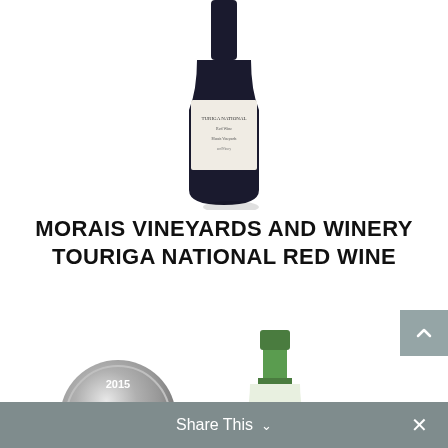[Figure (photo): Partial wine bottle (dark/red wine) cropped at top of page, showing only lower portion of bottle]
MORAIS VINEYARDS AND WINERY TOURIGA NATIONAL RED WINE
[Figure (photo): 2015 Craft Beer & Wine Silver medal badge]
[Figure (photo): White wine bottle with green cap and foot/barefoot label, featuring a gold award sticker]
Share This ∨ ×